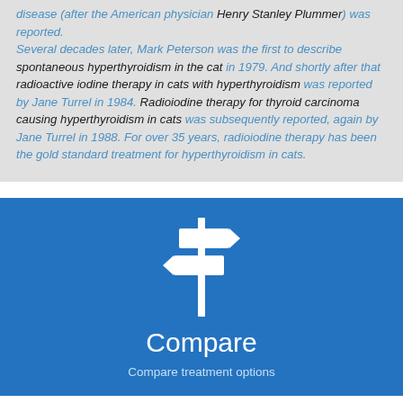disease (after the American physician Henry Stanley Plummer) was reported. Several decades later, Mark Peterson was the first to describe spontaneous hyperthyroidism in the cat in 1979. And shortly after that radioactive iodine therapy in cats with hyperthyroidism was reported by Jane Turrel in 1984. Radioiodine therapy for thyroid carcinoma causing hyperthyroidism in cats was subsequently reported, again by Jane Turrel in 1988. For over 35 years, radioiodine therapy has been the gold standard treatment for hyperthyroidism in cats.
[Figure (illustration): White signpost/directional sign icon on blue background]
Compare
Compare treatment options